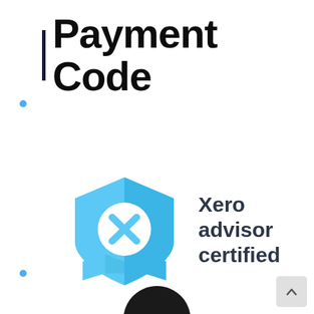Payment Code
[Figure (logo): Xero advisor certified badge — blue shield with white circle containing a blue X mark, with ribbon/scroll detail at bottom]
Xero advisor certified
[Figure (photo): Partial view of a person's head/hair at bottom of page]